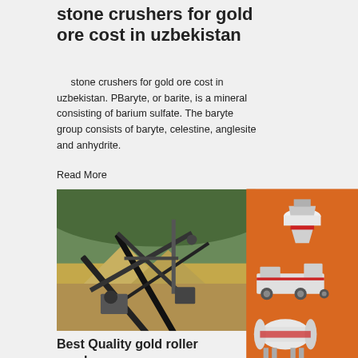stone crushers for gold ore cost in uzbekistan
stone crushers for gold ore cost in uzbekistan. PBaryte, or barite, is a mineral consisting of barium sulfate. The baryte group consists of baryte, celestine, anglesite and anhydrite.
Read More
[Figure (photo): Outdoor industrial stone crushing conveyor belt equipment at a mining site with sand/gravel piles in background]
Best Quality gold roller crushers pr... Alibaba
1906 products found for. gold roller crush... Add to Favorites. 1 / 6. Price Gold Roller Crus... Factory Price Small Lab Salt Gold Limestone Gravel Sand Hard Stone Crushing Machine Supplier Double
[Figure (illustration): Orange sidebar advertisement showing industrial crushing machines with 'Enjoy 3% discount', 'Click to Chat', 'Enquiry', and 'limingjlmofen@sina.com' contact info]